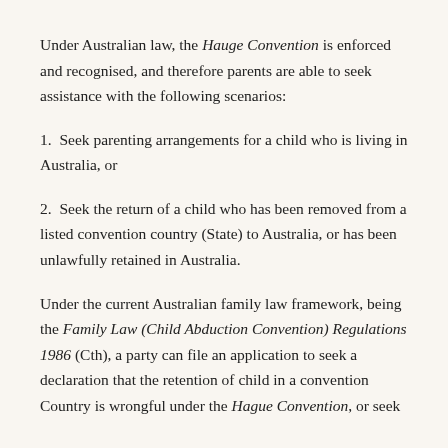Under Australian law, the Hauge Convention is enforced and recognised, and therefore parents are able to seek assistance with the following scenarios:
1. Seek parenting arrangements for a child who is living in Australia, or
2. Seek the return of a child who has been removed from a listed convention country (State) to Australia, or has been unlawfully retained in Australia.
Under the current Australian family law framework, being the Family Law (Child Abduction Convention) Regulations 1986 (Cth), a party can file an application to seek a declaration that the retention of child in a convention Country is wrongful under the Hague Convention, or seek